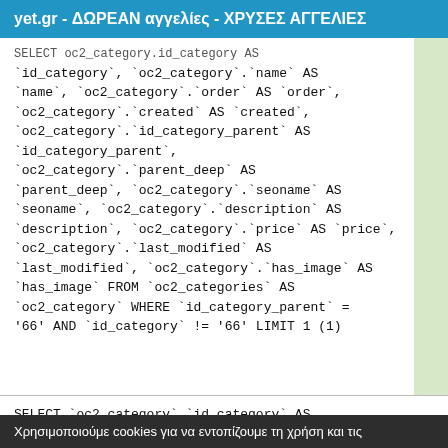yet.gr - ΔΩΡΕΑΝ αγγελίες - ΧΡΥΣΕΣ ΑΓΓΕΛΙΕΣ
`id_category`, `oc2_category`.`name` AS `name`, `oc2_category`.`order` AS `order`, `oc2_category`.`created` AS `created`, `oc2_category`.`id_category_parent` AS `id_category_parent`, `oc2_category`.`parent_deep` AS `parent_deep`, `oc2_category`.`seoname` AS `seoname`, `oc2_category`.`description` AS `description`, `oc2_category`.`price` AS `price`, `oc2_category`.`last_modified` AS `last_modified`, `oc2_category`.`has_image` AS `has_image` FROM `oc2_categories` AS `oc2_category` WHERE `id_category_parent` = '66' AND `id_category` != '66' LIMIT 1 (1)
SELECT `oc2_category`.`id_category` AS
Χρησιμοποιούμε cookies για να εντοπίζουμε τη χρήση και τις